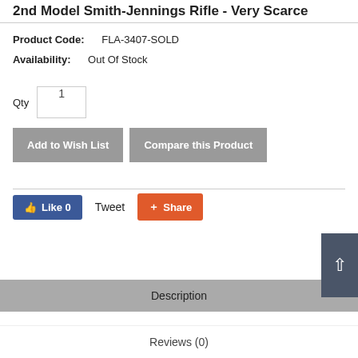2nd Model Smith-Jennings Rifle - Very Scarce
Product Code:   FLA-3407-SOLD
Availability:   Out Of Stock
Qty  1
Add to Wish List   Compare this Product
Like 0   Tweet   Share
Description
Reviews (0)